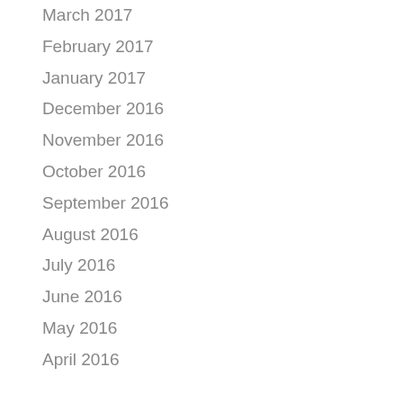March 2017
February 2017
January 2017
December 2016
November 2016
October 2016
September 2016
August 2016
July 2016
June 2016
May 2016
April 2016